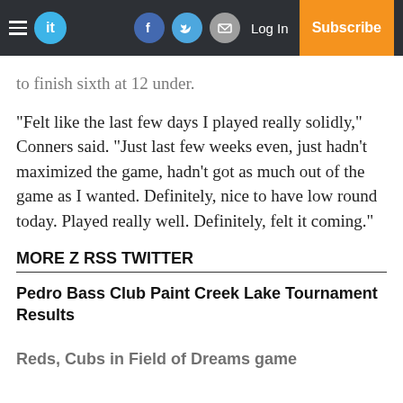it | Log In | Subscribe
to finish sixth at 12 under.
“Felt like the last few days I played really solidly,” Conners said. “Just last few weeks even, just hadn’t maximized the game, hadn’t got as much out of the game as I wanted. Definitely, nice to have low round today. Played really well. Definitely, felt it coming.”
MORE Z RSS TWITTER
Pedro Bass Club Paint Creek Lake Tournament Results
Reds, Cubs in Field of Dreams game